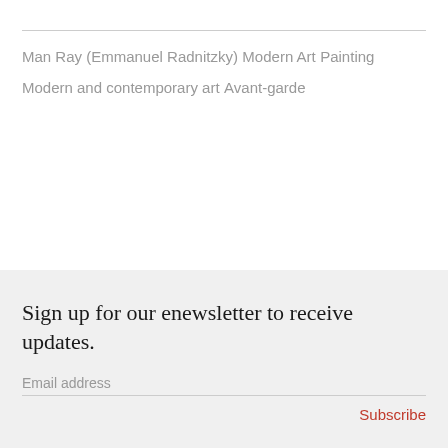Man Ray (Emmanuel Radnitzky)
Modern Art
Painting
Modern and contemporary art
Avant-garde
Sign up for our enewsletter to receive updates.
Email address
Subscribe